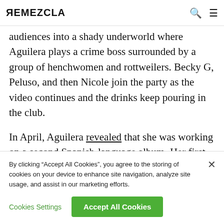REMEZCLA
audiences into a shady underworld where Aguilera plays a crime boss surrounded by a group of henchwomen and rottweilers. Becky G, Peluso, and then Nicole join the party as the video continues and the drinks keep pouring in the club.
In April, Aguilera revealed that she was working on a second Spanish-language album. Her first was 2000’s Mi Reflejo, which won a Latin Grammy for Best Female
By clicking “Accept All Cookies”, you agree to the storing of cookies on your device to enhance site navigation, analyze site usage, and assist in our marketing efforts.
Cookies Settings
Accept All Cookies